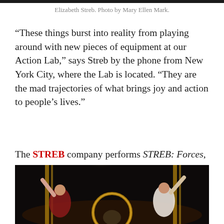Elizabeth Streb. Photo by Mary Ellen Mark.
“These things burst into reality from playing around with new pieces of equipment at our Action Lab,” says Streb by the phone from New York City, where the Lab is located. “They are the mad trajectories of what brings joy and action to people’s lives.”
The STREB company performs STREB: Forces, 8 P.M., Fri., Sept. 28 & Sat., Sept. 29 at the Byham Theater, $19-48, (412) 456-6666, the Box Office at Theater Square or trustarts.org
[Figure (photo): Performance photo showing dancers/acrobats with raised arms against a dark background with golden lighting elements]